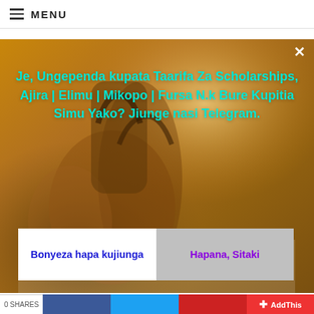MENU
at Abt Associates February 2022
Absa Group, Customer Experience Executive February 2022
[Figure (photo): Modal popup overlay on a webpage showing a person carrying shopping bags with warm bokeh background. Contains Swahili text and call-to-action buttons for a Telegram channel.]
Je, Ungependa kupata Taarifa Za Scholarships, Ajira | Elimu | Mikopo | Fursa N.k Bure Kupitia Simu Yako? Jiunge nasi Telegram.
Bonyeza hapa kujiunga
Hapana, Sitaki